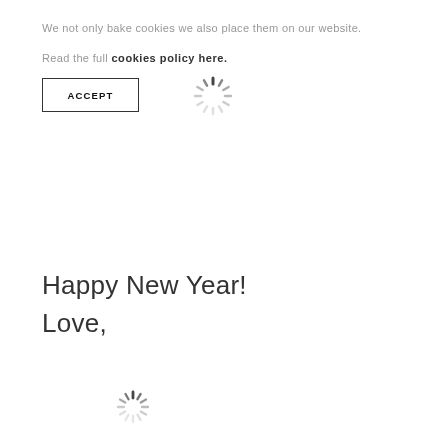We not only bake cookies we also place them on our website.
Read the full cookies policy here.
ACCEPT
[Figure (other): Loading spinner icon (circular dashed loading indicator)]
Happy New Year!
Love,
[Figure (other): Loading spinner icon (circular dashed loading indicator)]